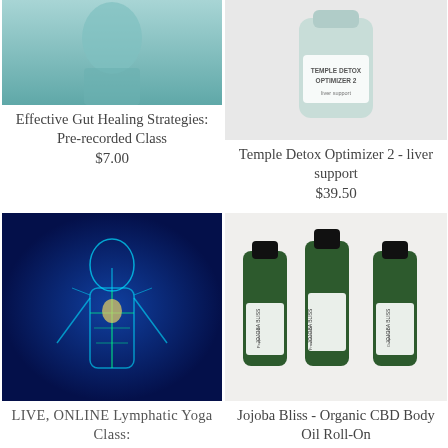[Figure (photo): Partial photo of a person, medical/health context, top of page left column]
Effective Gut Healing Strategies: Pre-recorded Class
$7.00
[Figure (photo): Temple Detox Optimizer 2 product bottle, white/green container]
Temple Detox Optimizer 2 - liver support
$39.50
[Figure (photo): Medical illustration of human lymphatic system glowing blue/green]
LIVE, ONLINE Lymphatic Yoga Class:
[Figure (photo): Three green glass roller bottles of Jojoba Bliss CBD Body Oil Roll-On with Bliss branding]
Jojoba Bliss - Organic CBD Body Oil Roll-On